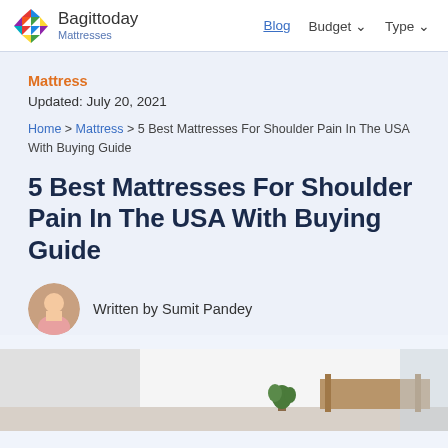Bagittoday Mattresses | Blog | Budget | Type
Mattress
Updated: July 20, 2021
Home > Mattress > 5 Best Mattresses For Shoulder Pain In The USA With Buying Guide
5 Best Mattresses For Shoulder Pain In The USA With Buying Guide
Written by Sumit Pandey
[Figure (photo): Hero image of a bedroom scene with a mattress, plant, and window]